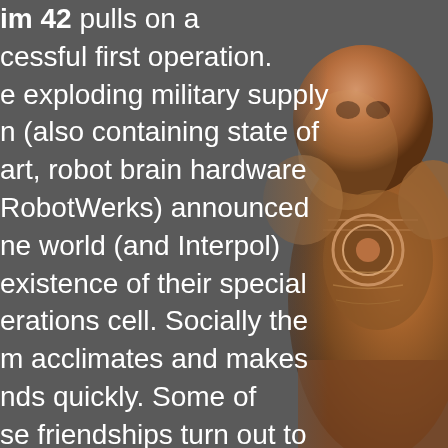im 42 pulls on a cessful first operation. e exploding military supply n (also containing state of art, robot brain hardware RobotWerks) announced ne world (and Interpol) existence of their special erations cell. Socially the m acclimates and makes nds quickly. Some of se friendships turn out to unfortunate. Their second ignment ends in an epic but with some rageous cyberpunk ments. Now the hounds be loosed and the ection of the campaign
[Figure (photo): A figure or character rendered in warm brown/orange tones, possibly a robot or armored character, partially visible on the right side of the page against the grey background.]